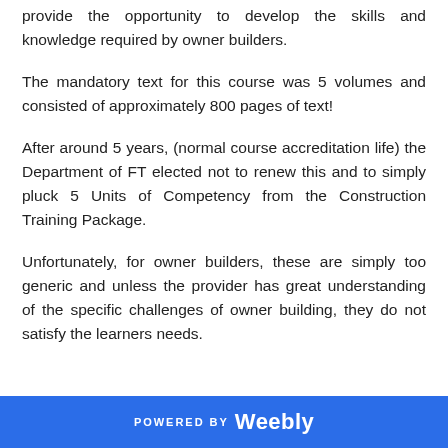provide the opportunity to develop the skills and knowledge required by owner builders.
The mandatory text for this course was 5 volumes and consisted of approximately 800 pages of text!
After around 5 years, (normal course accreditation life) the Department of FT elected not to renew this and to simply pluck 5 Units of Competency from the Construction Training Package.
Unfortunately, for owner builders, these are simply too generic and unless the provider has great understanding of the specific challenges of owner building, they do not satisfy the learners needs.
POWERED BY Weebly